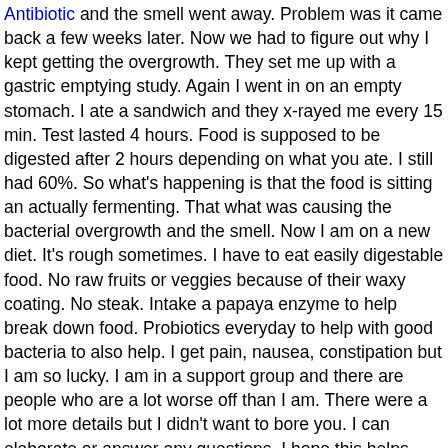Antibiotic and the smell went away. Problem was it came back a few weeks later. Now we had to figure out why I kept getting the overgrowth. They set me up with a gastric emptying study. Again I went in on an empty stomach. I ate a sandwich and they x-rayed me every 15 min. Test lasted 4 hours. Food is supposed to be digested after 2 hours depending on what you ate. I still had 60%. So what's happening is that the food is sitting an actually fermenting. That what was causing the bacterial overgrowth and the smell. Now I am on a new diet. It's rough sometimes. I have to eat easily digestable food. No raw fruits or veggies because of their waxy coating. No steak. Intake a papaya enzyme to help break down food. Probiotics everyday to help with good bacteria to also help. I get pain, nausea, constipation but I am so lucky. I am in a support group and there are people who are a lot worse off than I am. There were a lot more details but I didn't want to bore you. I can elaborate or answer any questions. I hope this helps.
<< Return to the standard message view
fetched in 0.30 sec, referred by curezone.org/forums/fmp.asp?i=2157608